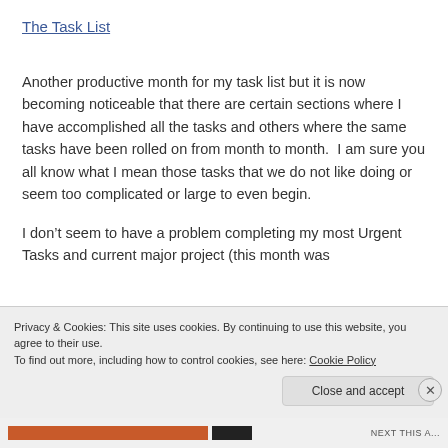The Task List
Another productive month for my task list but it is now becoming noticeable that there are certain sections where I have accomplished all the tasks and others where the same tasks have been rolled on from month to month.  I am sure you all know what I mean those tasks that we do not like doing or seem too complicated or large to even begin.
I don’t seem to have a problem completing my most Urgent Tasks and current major project (this month was
Privacy & Cookies: This site uses cookies. By continuing to use this website, you agree to their use.
To find out more, including how to control cookies, see here: Cookie Policy
Close and accept